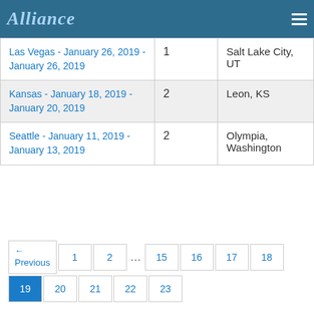Alliance
| Event | Count | Location |
| --- | --- | --- |
| Las Vegas - January 26, 2019 - January 26, 2019 | 1 | Salt Lake City, UT |
| Kansas - January 18, 2019 - January 20, 2019 | 2 | Leon, KS |
| Seattle - January 11, 2019 - January 13, 2019 | 2 | Olympia, Washington |
← Previous  1  2  ...  15  16  17  18  19  20  21  22  23